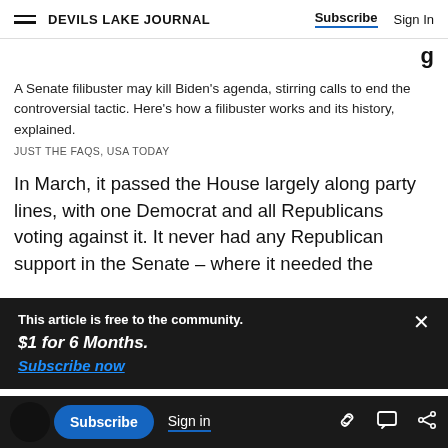DEVILS LAKE JOURNAL   Subscribe   Sign In
A Senate filibuster may kill Biden's agenda, stirring calls to end the controversial tactic. Here's how a filibuster works and its history, explained.
JUST THE FAQS, USA TODAY
In March, it passed the House largely along party lines, with one Democrat and all Republicans voting against it. It never had any Republican support in the Senate – where it needed the
This article is free to the community.
$1 for 6 Months.
Subscribe now
morning,Schumer slammed Republicans ahead of
lies about election fraud in the 2020 elections has
Subscribe   Sign in